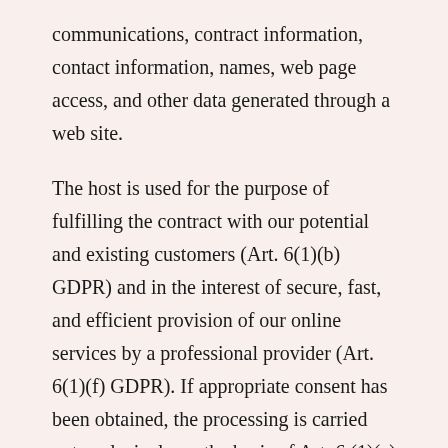communications, contract information, contact information, names, web page access, and other data generated through a web site.
The host is used for the purpose of fulfilling the contract with our potential and existing customers (Art. 6(1)(b) GDPR) and in the interest of secure, fast, and efficient provision of our online services by a professional provider (Art. 6(1)(f) GDPR). If appropriate consent has been obtained, the processing is carried out exclusively on the basis of Art. 6 (1)(a) GDPR and § 25 (1) TTDSG, insofar the consent includes the storage of cookies or the access to information in the user's end device (e.g., device fingerprinting) within the meaning of the TTDSG. This consent can be